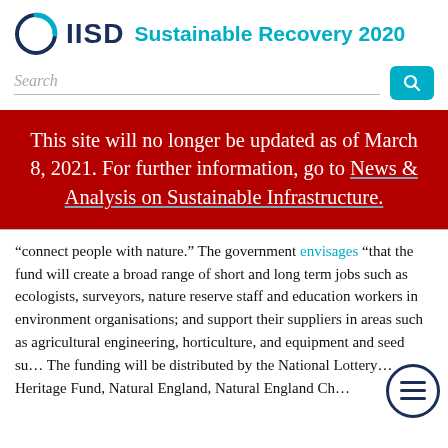IISD Sustainable Recovery 2020
Search
This site will no longer be updated as of March 8, 2021. For further information, go to News & Analysis on Sustainable Infrastructure.
“connect people with nature.” The government envisages “that the fund will create a broad range of short and long term jobs such as ecologists, surveyors, nature reserve staff and education workers in environment organisations; and support their suppliers in areas such as agricultural engineering, horticulture, and equipment and seed su… The funding will be distributed by the National Lottery Heritage Fund, Natural England, Natural England Ch…